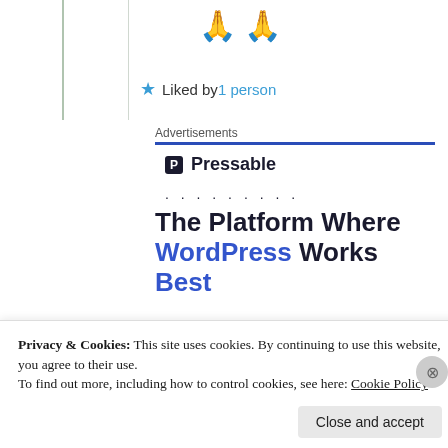[Figure (illustration): Two golden folded hands (prayer emoji) side by side]
★ Liked by 1 person
Advertisements
[Figure (logo): Pressable logo with dark icon and bold text]
. . . . . . . . .
The Platform Where WordPress Works Best
Privacy & Cookies: This site uses cookies. By continuing to use this website, you agree to their use.
To find out more, including how to control cookies, see here: Cookie Policy
Close and accept